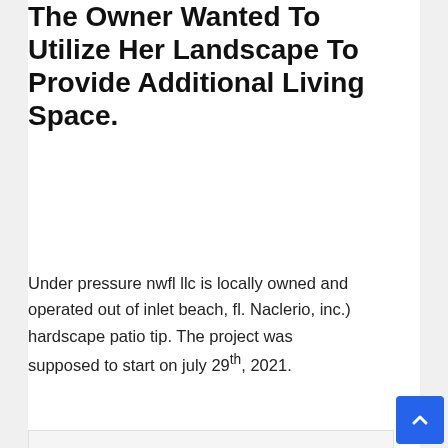The Owner Wanted To Utilize Her Landscape To Provide Additional Living Space.
Under pressure nwfl llc is locally owned and operated out of inlet beach, fl. Naclerio, inc.) hardscape patio tip. The project was supposed to start on july 29th, 2021.
[Figure (illustration): Generic gray user avatar icon — circular silhouette of a person on a light gray background]